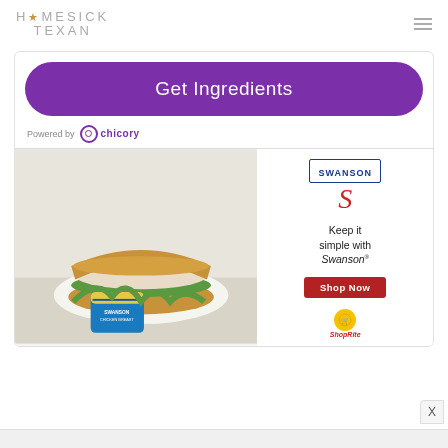[Figure (logo): Homesick Texan logo with star icon and text in two lines]
[Figure (screenshot): Get Ingredients button powered by Chicory, followed by Swanson Classic Chicken Salad Sandwich advertisement with 'Keep it simple with Swanson' text and Shop Now button]
Powered by chicory
Classic Chicken Salad Sandwich
SWANSON
Keep it simple with Swanson®
Shop Now